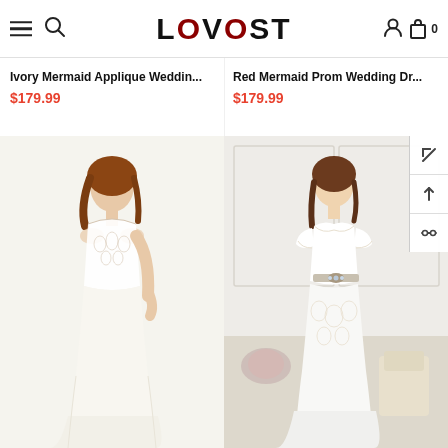LOVOST navigation bar with hamburger menu, search, user, and cart icons
Ivory Mermaid Applique Weddin...
$179.99
Red Mermaid Prom Wedding Dr...
$179.99
[Figure (photo): Woman in ivory mermaid wedding dress with lace bodice]
[Figure (photo): Woman in white mermaid wedding dress with cap sleeves and embellished belt, standing in a decorated room]